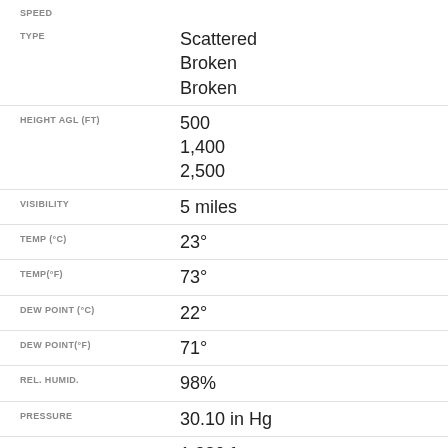SPEED
TYPE: Scattered
Broken
Broken
HEIGHT AGL (FT): 500
1,400
2,500
VISIBILITY: 5 miles
TEMP (°C): 23°
TEMP(°F): 73°
DEW POINT (°C): 22°
DEW POINT(°F): 71°
REL. HUMID.: 98%
PRESSURE: 30.10 in Hg
DENSITY ALTITUDE: 1,280 ft
REMARKS: Mist
DATE: 19-Aug
TIME (EDT): 10:35PM
FLIGHT RULES: MVFR
WIND DIR.: 100°
SPEED: 4 kt
TYPE: Scattered
Broken